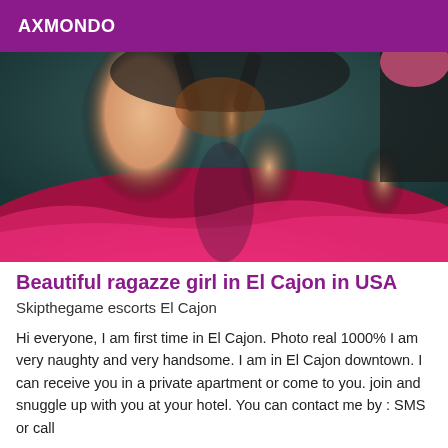AXMONDO
[Figure (photo): Photo of a woman posing on pink satin sheets with teal background]
Beautiful ragazze girl in El Cajon in USA
Skipthegame escorts El Cajon
Hi everyone, I am first time in El Cajon. Photo real 1000% I am very naughty and very handsome. I am in El Cajon downtown. I can receive you in a private apartment or come to you. join and snuggle up with you at your hotel. You can contact me by : SMS or call